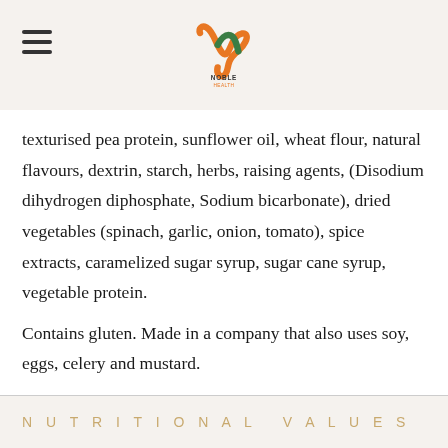Noble Health Foods logo with hamburger menu
texturised pea protein, sunflower oil, wheat flour, natural flavours, dextrin, starch, herbs, raising agents, (Disodium dihydrogen diphosphate, Sodium bicarbonate), dried vegetables (spinach, garlic, onion, tomato), spice extracts, caramelized sugar syrup, sugar cane syrup, vegetable protein.
Contains gluten. Made in a company that also uses soy, eggs, celery and mustard.
NUTRITIONAL VALUES